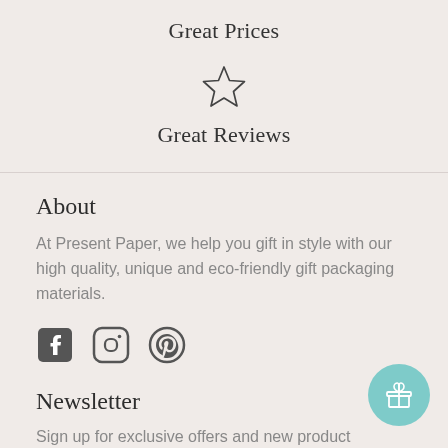Great Prices
[Figure (illustration): Outline star icon (unfilled)]
Great Reviews
About
At Present Paper, we help you gift in style with our high quality, unique and eco-friendly gift packaging materials.
[Figure (other): Social media icons: Facebook, Instagram, Pinterest]
Newsletter
Sign up for exclusive offers and new product launches.